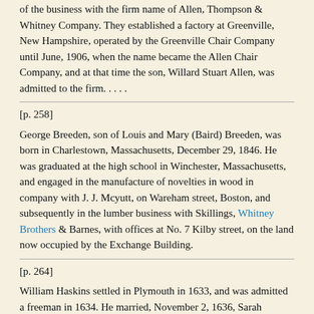of the business with the firm name of Allen, Thompson & Whitney Company. They established a factory at Greenville, New Hampshire, operated by the Greenville Chair Company until June, 1906, when the name became the Allen Chair Company, and at that time the son, Willard Stuart Allen, was admitted to the firm. . . . .
[p. 258]
George Breeden, son of Louis and Mary (Baird) Breeden, was born in Charlestown, Massachusetts, December 29, 1846. He was graduated at the high school in Winchester, Massachusetts, and engaged in the manufacture of novelties in wood in company with J. J. Mcyutt, on Wareham street, Boston, and subsequently in the lumber business with Skillings, Whitney Brothers & Barnes, with offices at No. 7 Kilby street, on the land now occupied by the Exchange Building.
[p. 264]
William Haskins settled in Plymouth in 1633, and was admitted a freeman in 1634. He married, November 2, 1636, Sarah Cushman, and (second) December 21, 1638, Ann Hynes (or Hinds). . . . . Children: William, born about 1637, mentioned below. Son, born November 30, 1647. Samuel, born August 8, 1654. Perhaps others. Mary, married. November 28, 1660, Edward Cobb. Elizabeth (?). A daughter, Sarah, born September 16, 1636, he placed with Thomas and Winifred Whitney, of Plymouth, to remain until she was twenty years old, January 2, 1642-44. The date of her birth